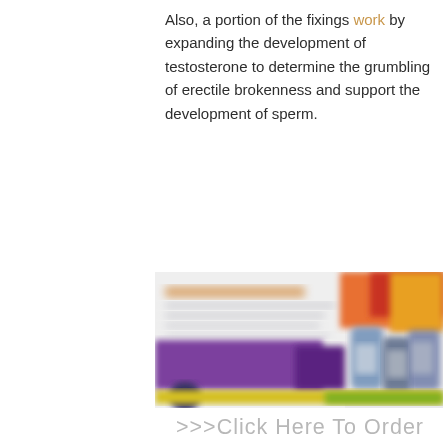Also, a portion of the fixings work by expanding the development of testosterone to determine the grumbling of erectile brokenness and support the development of sperm.
[Figure (photo): Blurred product image showing supplement packaging with purple and white design, colorful bottles/containers in background (orange, red, yellow, blue tones), and a yellow/green strip at the bottom.]
>>>Click Here To Order